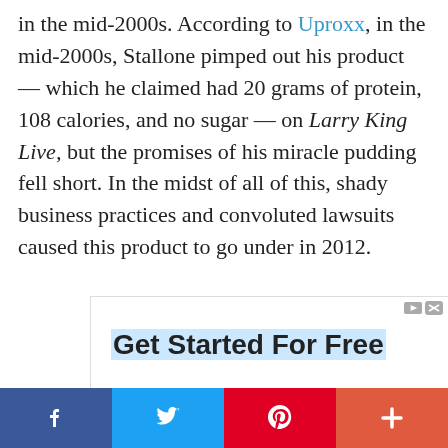in the mid-2000s. According to Uproxx, in the mid-2000s, Stallone pimped out his product — which he claimed had 20 grams of protein, 108 calories, and no sugar — on Larry King Live, but the promises of his miracle pudding fell short. In the midst of all of this, shady business practices and convoluted lawsuits caused this product to go under in 2012.
[Figure (other): Advertisement banner: 'Get Started For Free' with subtitle 'QR Code solutions for every' and ad icon controls (play/close) in the top right corner.]
[Figure (other): Social media share bar with four buttons: Facebook (blue), Twitter (light blue), Pinterest (red), and a plus/more button (orange-red).]